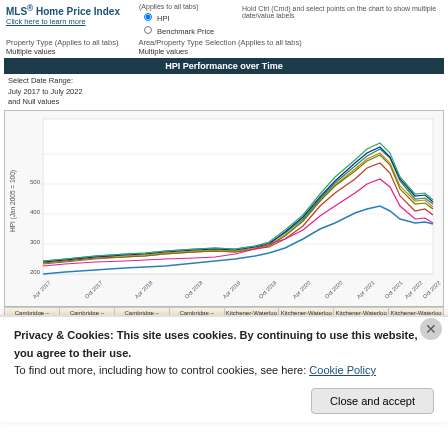MLS® Home Price Index
Click here to learn more
Applies to all tabs
HPI
Benchmark Price
Hold Ctrl (Cmd) and select points on the chart to show multiple date/value labels
Property Type (Applies to all tabs): Multiple values
Area/Property Type Selection (Applies to all tabs): Multiple values
HPI Performance over Time
Select Date Range:
July 2017 to July 2022
and Null values
[Figure (line-chart): Multi-series line chart showing HPI performance over time from April 2017 to October 2022 for multiple Cambridge and Kitchener-Waterloo property types. Values range from approximately 150 to 550. Most series rise steeply from 2020 onward, peaking around early 2022 near 500-550, then declining. One blue line (apartment) rises more gradually to about 350-360.]
Cambridge – Composite | Cambridge – Single Family | Cambridge – Townhouse | Cambridge – Apartment | Kitchener-Waterloo – Composite | Kitchener-Waterloo – Single Family | Kitchener-Waterloo – Townhouse | Kitchener-Waterloo – Apartment
Privacy & Cookies: This site uses cookies. By continuing to use this website, you agree to their use.
To find out more, including how to control cookies, see here: Cookie Policy
Close and accept